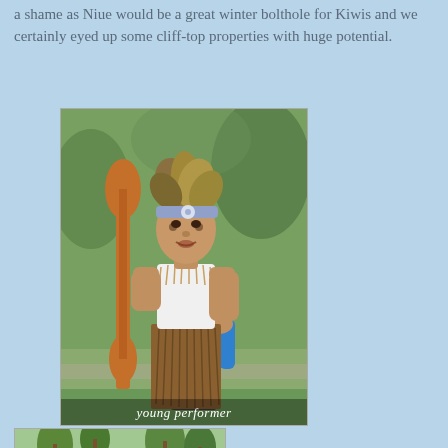a shame as Niue would be a great winter bolthole for Kiwis and we certainly eyed up some cliff-top properties with huge potential.
[Figure (photo): A young child performer in traditional Pacific island costume with a feathered headdress, a woven grass skirt, and face paint, holding carved wooden spears near a microphone stand. Caption reads 'young performer'.]
[Figure (photo): An outdoor gathering scene with people, vehicles, tents, and palm trees on a grassy area, appearing to be a local community event or market in Niue.]